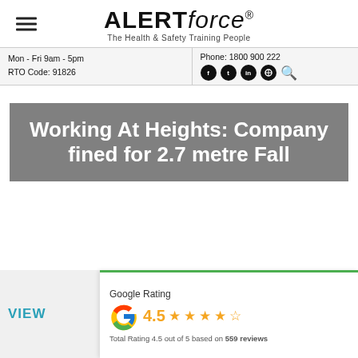ALERT force® — The Health & Safety Training People
Mon - Fri 9am - 5pm
RTO Code: 91826
Phone: 1800 900 222
Working At Heights: Company fined for 2.7 metre Fall
VIEW
Google Rating
4.5 ★★★★½
Total Rating 4.5 out of 5 based on 559 reviews